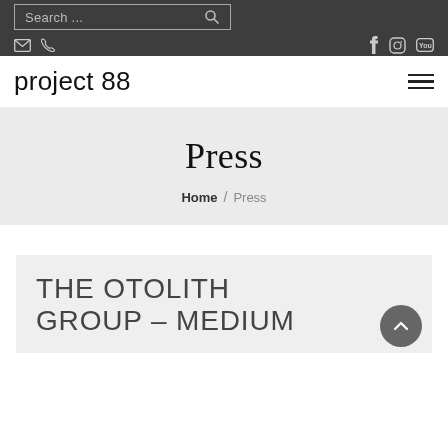Search ...
project 88
Press
Home / Press
THE OTOLITH GROUP – MEDIUM